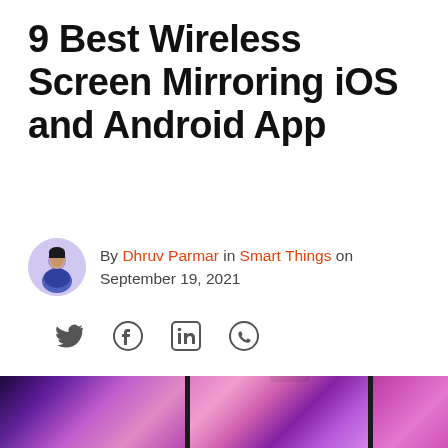9 Best Wireless Screen Mirroring iOS and Android App
By Dhruv Parmar in Smart Things on September 19, 2021
[Figure (other): Social sharing icons: Twitter, Facebook, LinkedIn, WhatsApp]
Geekflare is supported by our audience. We may earn affiliate commissions from buying links on this site.
[Figure (photo): Three computer monitors side by side displaying colorful pink and purple abstract wallpapers]